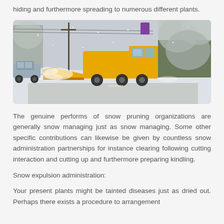hiding and furthermore spreading to numerous different plants.
[Figure (photo): A yellow snow plow truck clearing a snow-covered road during a heavy snowstorm, with snow-laden trees visible on the right and a car on the left side of the road.]
The genuine performs of snow pruning organizations are generally snow managing just as snow managing. Some other specific contributions can likewise be given by countless snow administration partnerships for instance clearing following cutting interaction and cutting up and furthermore preparing kindling.
Snow expulsion administration:
Your present plants might be tainted diseases just as dried out. Perhaps there exists a procedure to arrangement